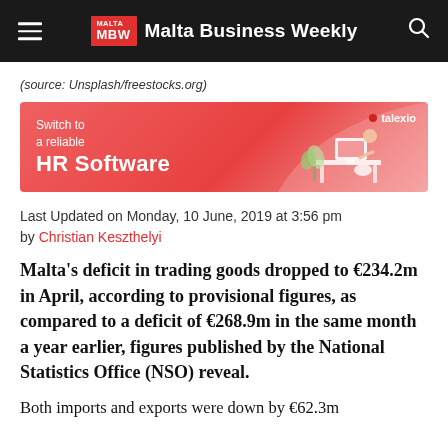Malta Business Weekly
(source: Unsplash/freestocks.org)
[Figure (infographic): Talexio HR Software advertisement banner with illustrated person at desk on coral/red background]
Last Updated on Monday, 10 June, 2019 at 3:56 pm by Christian Keszthelyi
Malta's deficit in trading goods dropped to €234.2m in April, according to provisional figures, as compared to a deficit of €268.9m in the same month a year earlier, figures published by the National Statistics Office (NSO) reveal.
Both imports and exports were down by €62.3m